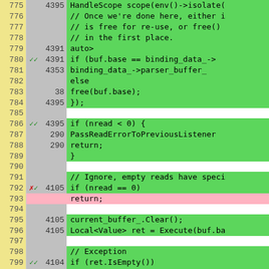[Figure (screenshot): Code coverage viewer showing lines 775-801 of a C++ source file. Line numbers in yellow-green column on left, hit counts in gray column, code content in green (covered) or pink (uncovered) background. Line 793 'return;' is highlighted in pink indicating uncovered code. Some lines have checkmark markers (covered branches) or X markers (uncovered branches).]